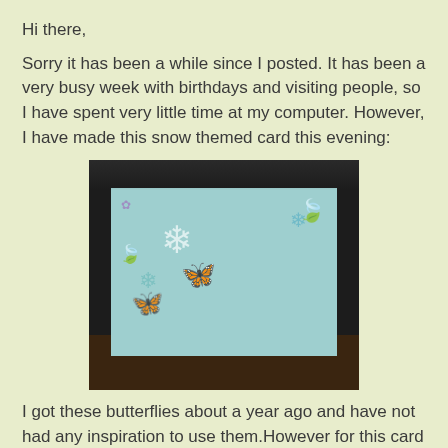Hi there,
Sorry it has been a while since I posted. It has been a very busy week with birthdays and visiting people, so I have spent very little time at my computer. However, I have made this snow themed card this evening:
[Figure (photo): A handmade snow-themed card photographed on a dark surface. The card has a light blue/teal background with stamped snowflakes, butterfly cutouts, and leaf designs in teal and blue tones with glitter accents.]
I got these butterflies about a year ago and have not had any inspiration to use them.However for this card I followed the Atlantic Hearts Sketch #139 , and used a snowflake glitter vellum for the centre panel. I then inked two felt snowflakes